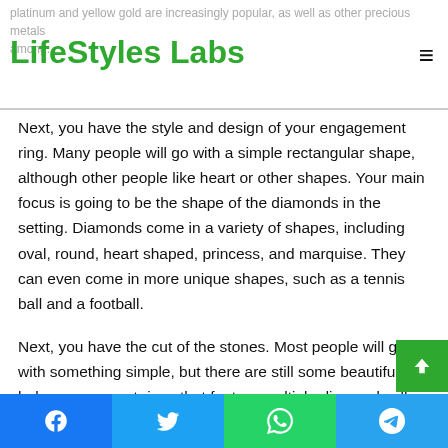LifeStyles Labs
platinum and yellow gold are increasingly popular, as well as other precious metals among...
Next, you have the style and design of your engagement ring. Many people will go with a simple rectangular shape, although other people like heart or other shapes. Your main focus is going to be the shape of the diamonds in the setting. Diamonds come in a variety of shapes, including oval, round, heart shaped, princess, and marquise. They can even come in more unique shapes, such as a tennis ball and a football.
Next, you have the cut of the stones. Most people will go with something simple, but there are still some beautiful halo engagement rings that feature multiple diamonds all over the stone in a very unique shape. Some people like princess cut stones, while others like something more unique and
Facebook  Twitter  WhatsApp  Telegram